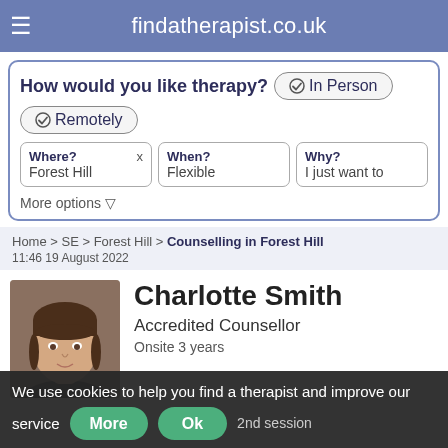findatherapist.co.uk
How would you like therapy? ✓In Person
✓Remotely
Where? X Forest Hill | When? Flexible | Why? I just want to
More options ▽
Home > SE > Forest Hill > Counselling in Forest Hill
11:46 19 August 2022
Charlotte Smith
Accredited Counsellor
Onsite 3 years
We use cookies to help you find a therapist and improve our service
More | Ok | 2nd session